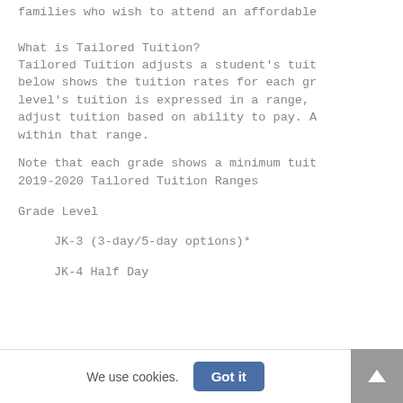The idea of paying tuition can be dauntin families who wish to attend an affordable
What is Tailored Tuition?
Tailored Tuition adjusts a student's tuit below shows the tuition rates for each gr level's tuition is expressed in a range, adjust tuition based on ability to pay. A within that range.
Note that each grade shows a minimum tuit 2019-2020 Tailored Tuition Ranges
Grade Level
JK-3 (3-day/5-day options)*
JK-4 Half Day